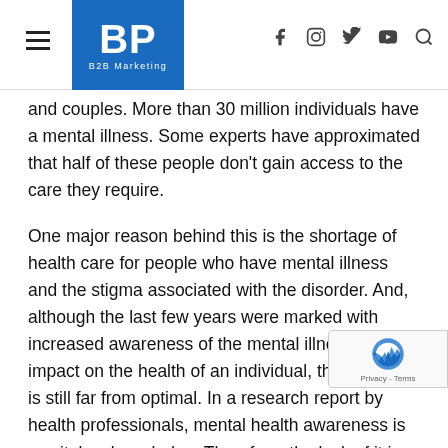BP B2B Marketing — navigation header with hamburger menu and social icons
and couples. More than 30 million individuals have a mental illness. Some experts have approximated that half of these people don't gain access to the care they require.
One major reason behind this is the shortage of health care for people who have mental illness and the stigma associated with the disorder. And, although the last few years were marked with increased awareness of the mental illness and its impact on the health of an individual, the situation is still far from optimal. In a research report by health professionals, mental health awareness is as vital as knowledge. Therefore, the lack of it is contributing to the growth and development of stigma. In turn, it hinders various individuals from searching for the help they need. Another primary reason why many individuals are mentally ill is the high treatment cost. It's been established that therapy is expensive. As such, it's also not accessible to individuals who might benefit from it.